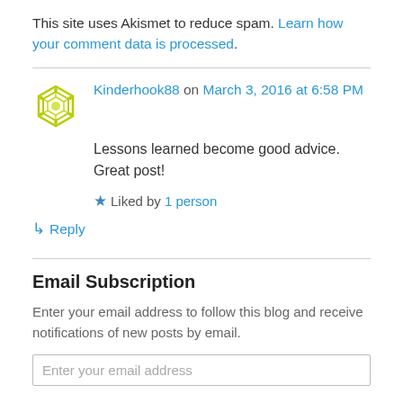This site uses Akismet to reduce spam. Learn how your comment data is processed.
Kinderhook88 on March 3, 2016 at 6:58 PM
Lessons learned become good advice. Great post!
Liked by 1 person
↳ Reply
Email Subscription
Enter your email address to follow this blog and receive notifications of new posts by email.